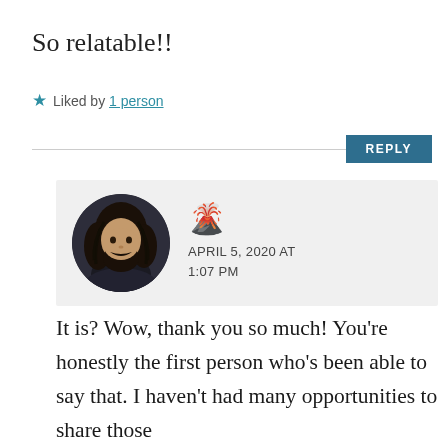So relatable!!
★ Liked by 1 person
REPLY
[Figure (photo): Circular avatar photo of a man with long dark hair and beard, and a volcano emoji icon in the top right of the comment header area. Date shown: APRIL 5, 2020 AT 1:07 PM]
APRIL 5, 2020 AT 1:07 PM
It is? Wow, thank you so much! You're honestly the first person who's been able to say that. I haven't had many opportunities to share those